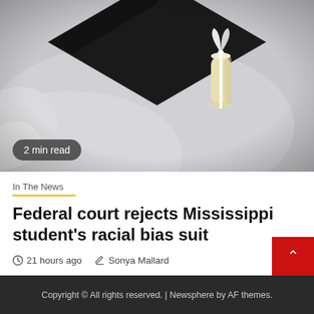[Figure (photo): Close-up photo of a black graduation mortarboard cap with a rolled diploma tied with a white ribbon, resting on white fabric/gown.]
2 min read
In The News
Federal court rejects Mississippi student's racial bias suit
21 hours ago  Sonya Mallard
Copyright © All rights reserved. | Newsphere by AF themes.